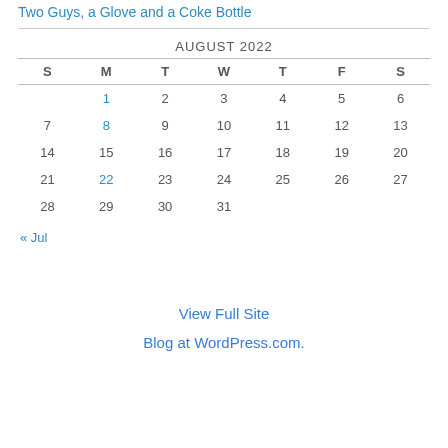Two Guys, a Glove and a Coke Bottle
| S | M | T | W | T | F | S |
| --- | --- | --- | --- | --- | --- | --- |
|  | 1 | 2 | 3 | 4 | 5 | 6 |
| 7 | 8 | 9 | 10 | 11 | 12 | 13 |
| 14 | 15 | 16 | 17 | 18 | 19 | 20 |
| 21 | 22 | 23 | 24 | 25 | 26 | 27 |
| 28 | 29 | 30 | 31 |  |  |  |
« Jul
View Full Site
Blog at WordPress.com.